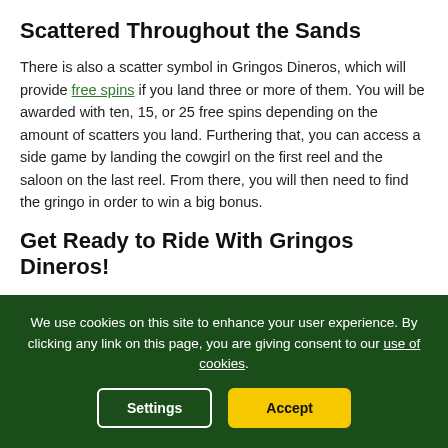Scattered Throughout the Sands
There is also a scatter symbol in Gringos Dineros, which will provide free spins if you land three or more of them. You will be awarded with ten, 15, or 25 free spins depending on the amount of scatters you land. Furthering that, you can access a side game by landing the cowgirl on the first reel and the saloon on the last reel. From there, you will then need to find the gringo in order to win a big bonus.
Get Ready to Ride With Gringos Dineros!
There is no doubt about it: Gringos Dineros is one online slots
We use cookies on this site to enhance your user experience. By clicking any link on this page, you are giving consent to our use of cookies.